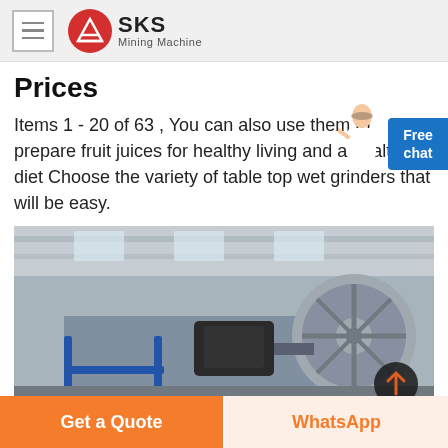SKS Mining Machine
Prices
Items 1 - 20 of 63 , You can also use them to prepare fruit juices for healthy living and a healthy diet Choose the variety of table top wet grinders that will be easy.
[Figure (photo): Industrial mining machine with large flywheel/pulley and electric motor in a factory/warehouse setting]
Get a Quote
WhatsApp